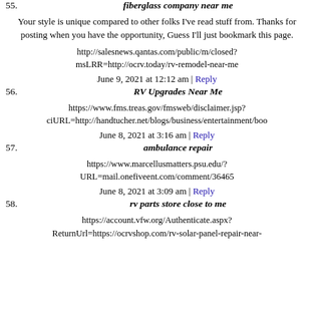55. fiberglass company near me
Your style is unique compared to other folks I've read stuff from. Thanks for posting when you have the opportunity, Guess I'll just bookmark this page.
http://salesnews.qantas.com/public/m/closed?msLRR=http://ocrv.today/rv-remodel-near-me
June 9, 2021 at 12:12 am | Reply
56. RV Upgrades Near Me
https://www.fms.treas.gov/fmsweb/disclaimer.jsp?ciURL=http://handtucher.net/blogs/business/entertainment/boo
June 8, 2021 at 3:16 am | Reply
57. ambulance repair
https://www.marcellusmatters.psu.edu/?URL=mail.onefiveent.com/comment/36465
June 8, 2021 at 3:09 am | Reply
58. rv parts store close to me
https://account.vfw.org/Authenticate.aspx?ReturnUrl=https://ocrvshop.com/rv-solar-panel-repair-near-